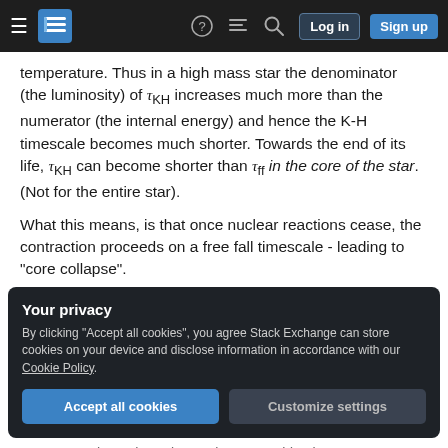Stack Exchange navigation bar with hamburger menu, logo, help, chat, search icons, Log in and Sign up buttons
temperature. Thus in a high mass star the denominator (the luminosity) of τKH increases much more than the numerator (the internal energy) and hence the K-H timescale becomes much shorter. Towards the end of its life, τKH can become shorter than τff in the core of the star. (Not for the entire star).
What this means, is that once nuclear reactions cease, the contraction proceeds on a free fall timescale - leading to "core collapse".
Your privacy
By clicking "Accept all cookies", you agree Stack Exchange can store cookies on your device and disclose information in accordance with our Cookie Policy.
Accept all cookies | Customize settings
So now you have three timescales to consider, but the rule is the same – evolution takes place at a rate...